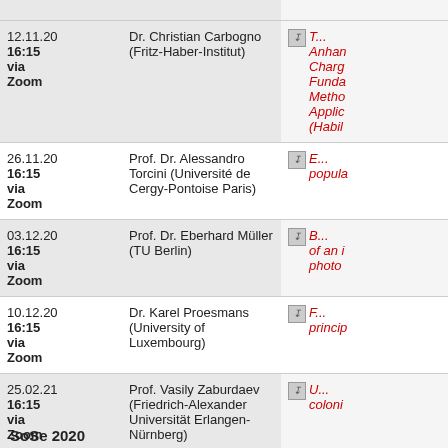| Date/Time | Speaker | Title |
| --- | --- | --- |
| 12.11.20 16:15 via Zoom | Dr. Christian Carbogno (Fritz-Haber-Institut) | T... Anhan Charg Funda Metho Applic (Habil |
| 26.11.20 16:15 via Zoom | Prof. Dr. Alessandro Torcini (Université de Cergy-Pontoise Paris) | E... popula |
| 03.12.20 16:15 via Zoom | Prof. Dr. Eberhard Müller (TU Berlin) | B... of an i photo |
| 10.12.20 16:15 via Zoom | Dr. Karel Proesmans (University of Luxembourg) | F... princip |
| 25.02.21 16:15 via Zoom | Prof. Vasily Zaburdaev (Friedrich-Alexander Universität Erlangen-Nürnberg) | U... coloni |
SoSe 2020